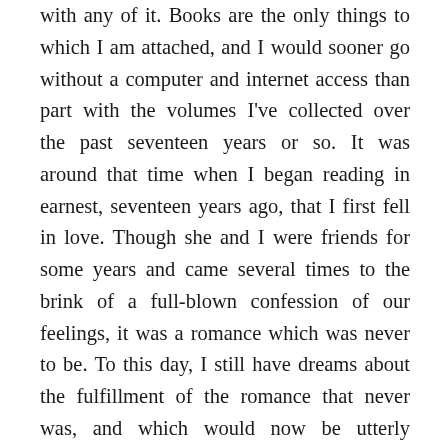with any of it. Books are the only things to which I am attached, and I would sooner go without a computer and internet access than part with the volumes I've collected over the past seventeen years or so. It was around that time when I began reading in earnest, seventeen years ago, that I first fell in love. Though she and I were friends for some years and came several times to the brink of a full-blown confession of our feelings, it was a romance which was never to be. To this day, I still have dreams about the fulfillment of the romance that never was, and which would now be utterly impossible. Yet, it is perhaps only in the ethereal world of dreams that one can experience a love whose month is ever May. In a curious inversion of Anselm's argument, its perfection lies in its unreality. Sometimes I wake from the fantasy